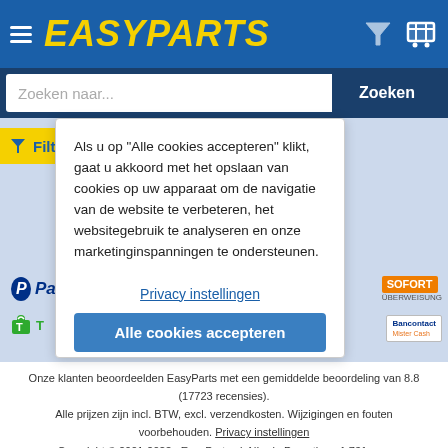[Figure (logo): EasyParts logo with hamburger menu, filter icon and shopping cart on blue header bar]
Zoeken naar...
Zoeken
Als u op "Alle cookies accepteren" klikt, gaat u akkoord met het opslaan van cookies op uw apparaat om de navigatie van de website te verbeteren, het websitegebruik te analyseren en onze marketinginspanningen te ondersteunen.
Privacy instellingen
Alle cookies accepteren
Onze klanten beoordeelden EasyParts met een gemiddelde beoordeling van 8.8 (17723 recensies). Alle prijzen zijn incl. BTW, excl. verzendkosten. Wijzigingen en fouten voorbehouden. Privacy instellingen Copyright © 2001-2022, EasyParts.nl NL-nl Parsetime: 1.731 sec.